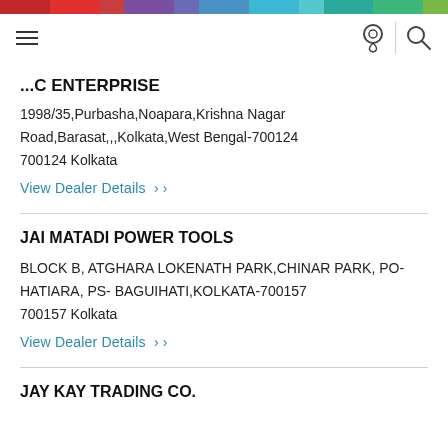Navigation bar with hamburger menu, location pin icon, and search icon
...C ENTERPRISE
1998/35,Purbasha,Noapara,Krishna Nagar Road,Barasat,,,Kolkata,West Bengal-700124
700124 Kolkata
View Dealer Details
JAI MATADI POWER TOOLS
BLOCK B, ATGHARA LOKENATH PARK,CHINAR PARK, PO-HATIARA, PS- BAGUIHATI,KOLKATA-700157
700157 Kolkata
View Dealer Details
JAY KAY TRADING CO.